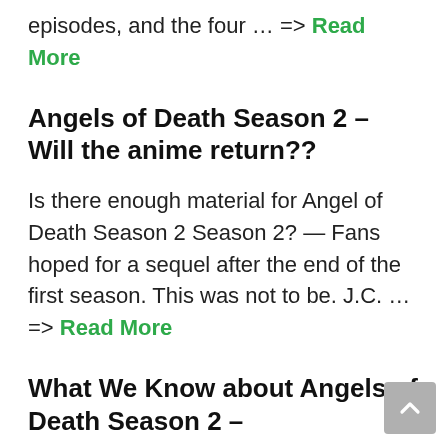episodes, and the four … => Read More
Angels of Death Season 2 – Will the anime return??
Is there enough material for Angel of Death Season 2 Season 2? — Fans hoped for a sequel after the end of the first season. This was not to be. J.C. … => Read More
What We Know about Angels of Death Season 2 –